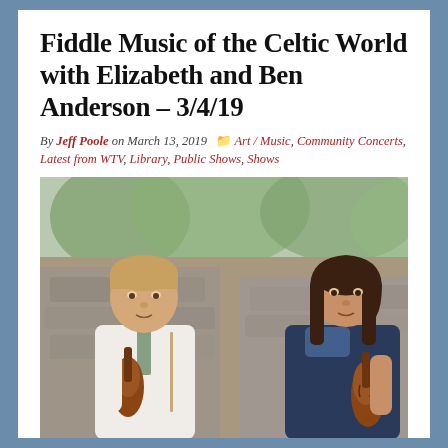Fiddle Music of the Celtic World with Elizabeth and Ben Anderson – 3/4/19
By Jeff Poole on March 13, 2019  Art / Music, Community Concerts, Latest from WTV, Library, Public Shows, Shows
[Figure (photo): Two young musicians (Ben Anderson on left in white suit holding a violin, Elizabeth Anderson on right in dark sleeveless dress holding a violin) standing outdoors in front of a stone wall with trees in the background.]